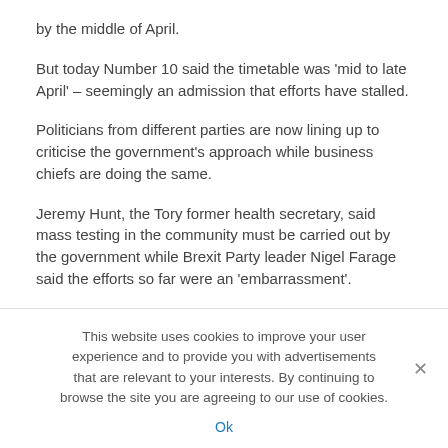by the middle of April.
But today Number 10 said the timetable was 'mid to late April' – seemingly an admission that efforts have stalled.
Politicians from different parties are now lining up to criticise the government's approach while business chiefs are doing the same.
Jeremy Hunt, the Tory former health secretary, said mass testing in the community must be carried out by the government while Brexit Party leader Nigel Farage said the efforts so far were an 'embarrassment'.
This website uses cookies to improve your user experience and to provide you with advertisements that are relevant to your interests. By continuing to browse the site you are agreeing to our use of cookies.
Ok